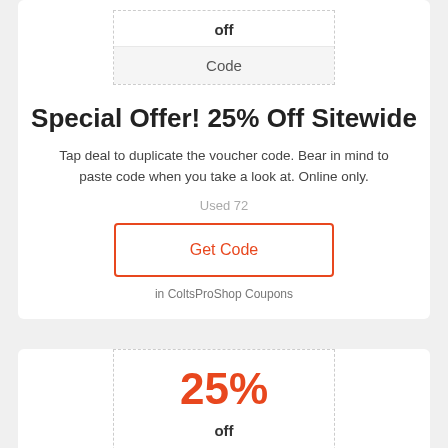| off |
| Code |
Special Offer! 25% Off Sitewide
Tap deal to duplicate the voucher code. Bear in mind to paste code when you take a look at. Online only.
Used 72
Get Code
in ColtsProShop Coupons
25%
off
Code